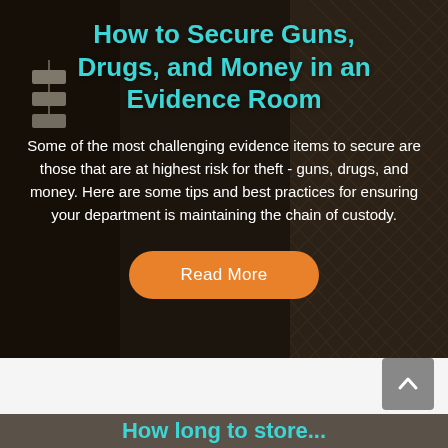[Figure (photo): Dark background photo of an evidence room showing shelving with diamond-pattern metal mesh, tagged evidence bags, and cables. Serves as backdrop for the article card.]
How to Secure Guns, Drugs, and Money in an Evidence Room
Some of the most challenging evidence items to secure are those that are at highest risk for theft - guns, drugs, and money. Here are some tips and best practices for ensuring your department is maintaining the chain of custody.
[Figure (screenshot): Orange rounded rectangle 'Read More' button]
[Figure (screenshot): Grey scroll-to-top button with upward chevron arrow in bottom right corner]
How long to store...